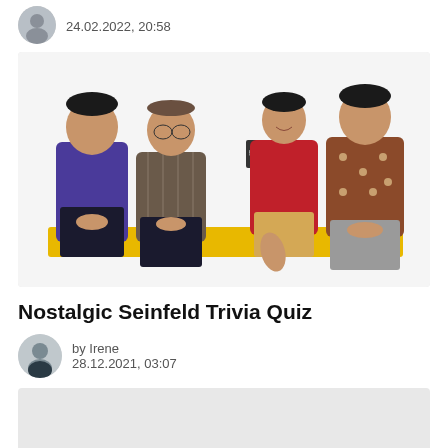24.02.2022, 20:58
[Figure (photo): Photo of the four main Seinfeld cast members sitting together on a yellow surface against a white background. From left: Jerry Seinfeld in a purple shirt, George Costanza in a plaid shirt, Elaine Benes in a red jacket, Cosmo Kramer in a brown patterned shirt.]
Nostalgic Seinfeld Trivia Quiz
by Irene
28.12.2021, 03:07
[Figure (other): Light grey placeholder rectangle at the bottom of the page]